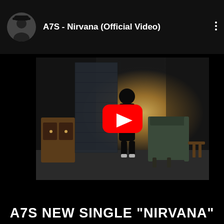A7S - Nirvana (Official Video)
[Figure (screenshot): YouTube video thumbnail showing a person standing in a dark cinematic room with a glowing portal-like wall, an armchair on the right, a cabinet on the left, and a red YouTube play button overlay in the center.]
A7S NEW SINGLE "NIRVANA"